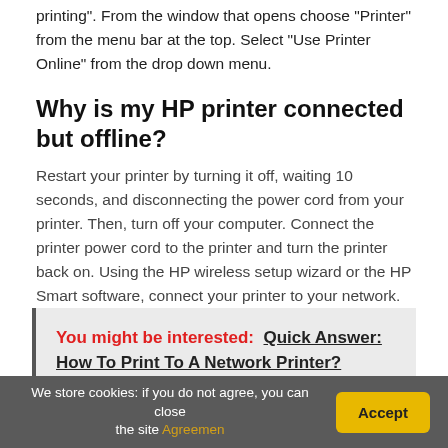printing". From the window that opens choose "Printer" from the menu bar at the top. Select "Use Printer Online" from the drop down menu.
Why is my HP printer connected but offline?
Restart your printer by turning it off, waiting 10 seconds, and disconnecting the power cord from your printer. Then, turn off your computer. Connect the printer power cord to the printer and turn the printer back on. Using the HP wireless setup wizard or the HP Smart software, connect your printer to your network.
You might be interested:  Quick Answer: How To Print To A Network Printer?
[Figure (photo): Partial view of a blue-toned photograph, likely showing a printer or tech device]
We store cookies: if you do not agree, you can close the site Agreemen